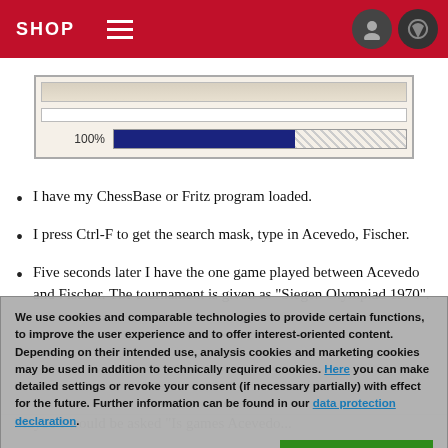SHOP
[Figure (screenshot): Progress bar UI element showing 100% with a blue fill bar]
I have my ChessBase or Fritz program loaded.
I press Ctrl-F to get the search mask, type in Acevedo, Fischer.
Five seconds later I have the one game played between Acevedo and Fischer. The tournament is given as "Siegen Olympiad 1970".
We use cookies and comparable technologies to provide certain functions, to improve the user experience and to offer interest-oriented content. Depending on their intended use, analysis cookies and marketing cookies may be used in addition to technically required cookies. Here you can make detailed settings or revoke your consent (if necessary partially) with effect for the future. Further information can be found in our data protection declaration.